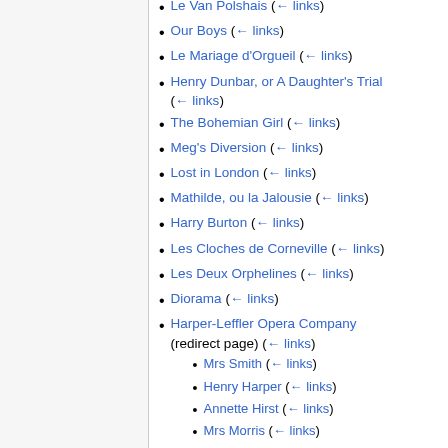Our Boys (← links)
Le Mariage d'Orgueil (← links)
Henry Dunbar, or A Daughter's Trial (← links)
The Bohemian Girl (← links)
Meg's Diversion (← links)
Lost in London (← links)
Mathilde, ou la Jalousie (← links)
Harry Burton (← links)
Les Cloches de Corneville (← links)
Les Deux Orphelines (← links)
Diorama (← links)
Harper-Leffler Opera Company (redirect page) (← links)
Mrs Smith (← links)
Henry Harper (← links)
Annette Hirst (← links)
Mrs Morris (← links)
Harper-Leffler Repertory Company